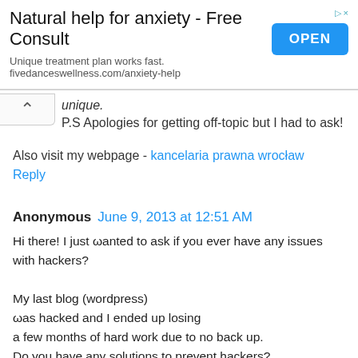[Figure (other): Advertisement banner: 'Natural help for anxiety - Free Consult' with OPEN button and URL fivedanceswellness.com/anxiety-help]
unique.
P.S Apologies for getting off-topic but I had to ask!
Also visit my webpage - kancelaria prawna wrocław
Reply
Anonymous June 9, 2013 at 12:51 AM
Hi there! I just ωanted to ask if you ever have any issues with hackers?

My last blog (wordpress)
ωas hacked and I ended up losing
a few months of hard work due to no back up.
Do you have any solutions to prevent hackers?